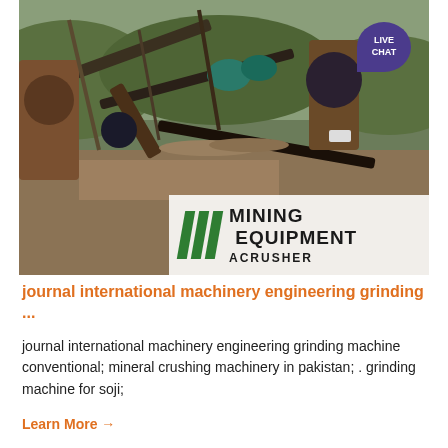[Figure (photo): Aerial/ground-level photograph of a mining equipment facility showing conveyor belts, crushers, and heavy machinery at a quarry site. A white banner overlay in the lower-right corner shows the brand logo with green diagonal stripes and the text 'MINING EQUIPMENT ACRUSHER'. A purple 'LIVE CHAT' speech-bubble badge is visible in the upper-right corner.]
journal international machinery engineering grinding ...
journal international machinery engineering grinding machine conventional; mineral crushing machinery in pakistan; . grinding machine for soji;
Learn More →